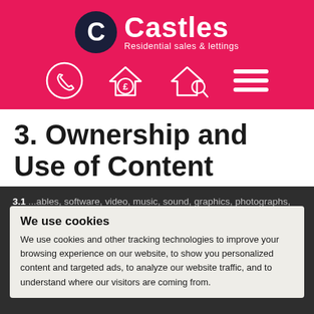[Figure (logo): Castles Residential sales & lettings logo — dark navy circle with white C letter, followed by bold white 'Castles' and subtitle 'Residential sales & lettings' on pink background]
[Figure (infographic): Navigation icons row: phone in circle, house with pound sign, house with search/magnify, hamburger menu — all white outlines on pink background]
3. Ownership and Use of Content
3.1 ...ables, software, video, music, sound, graphics, photographs, illustrations, artwork, names, logos, trade marks, service marks and other intellectual property on the Website (the 'Content') belongs to Castles Estate Agents and Mortgage Services Limited. You may retrieve and display content from the Website on a computer screen, printer or other output device for your own personal, non-commercial use only.
We use cookies and other tracking technologies to improve your browsing experience on our website, to show you personalized content and targeted ads, to analyze our website traffic, and to understand where our visitors are coming from.